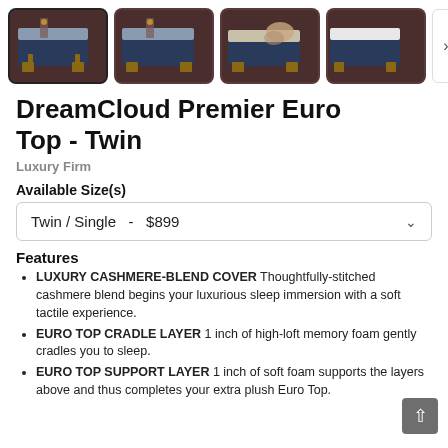[Figure (photo): Product image gallery showing 4 thumbnail photos of the DreamCloud Premier Euro Top mattress in a bedroom setting. First thumbnail is selected with a dark border.]
DreamCloud Premier Euro Top - Twin
Luxury Firm
Available Size(s)
Twin / Single  -  $899
Features
LUXURY CASHMERE-BLEND COVER Thoughtfully-stitched cashmere blend begins your luxurious sleep immersion with a soft tactile experience.
EURO TOP CRADLE LAYER 1 inch of high-loft memory foam gently cradles you to sleep.
EURO TOP SUPPORT LAYER 1 inch of soft foam supports the layers above and thus completes your extra plush Euro Top.